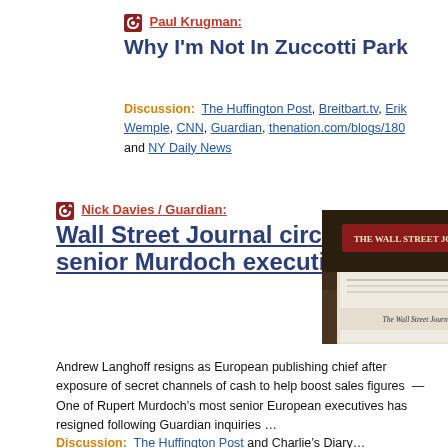Paul Krugman:
Why I'm Not In Zuccotti Park
Discussion:  The Huffington Post, Breitbart.tv, Erik Wemple, CNN, Guardian, thenation.com/blogs/180 and NY Daily News
Nick Davies / Guardian:
Wall Street Journal circulation scam claims senior Murdoch executive —
[Figure (photo): Photo of The Wall Street Journal newspaper on a table]
Andrew Langhoff resigns as European publishing chief after exposure of secret channels of cash to help boost sales figures  —  One of Rupert Murdoch's most senior European executives has resigned following Guardian inquiries …
Discussion:  The Huffington Post and Charlie's Diary…